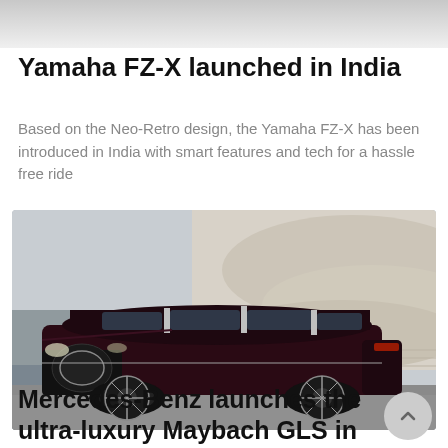[Figure (photo): Partial cropped view of vehicle/motorcycle image at top of page]
Yamaha FZ-X launched in India
Based on the Neo-Retro design, the Yamaha FZ-X has been introduced in India with smart features and tech for a hassle free ride
[Figure (photo): Mercedes-Benz Maybach GLS luxury SUV in dark maroon/black color parked in front of a modern curved concrete architectural building near water]
Mercedes-Benz launches the ultra-luxury Maybach GLS in